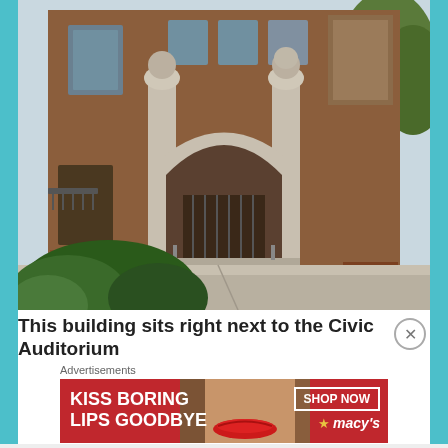[Figure (photo): Exterior photo of a historic brick building with a large stone arch entrance, flanked by two stone columns. Steps lead up to the entrance. Green shrubs visible in the foreground. Clear sky and trees in the background.]
This building sits right next to the Civic Auditorium
Advertisements
[Figure (screenshot): Macy's advertisement banner. Red background with white bold text 'KISS BORING LIPS GOODBYE'. Center shows a woman's face focusing on lips with red lipstick. Right side has 'SHOP NOW' button and Macy's star logo.]